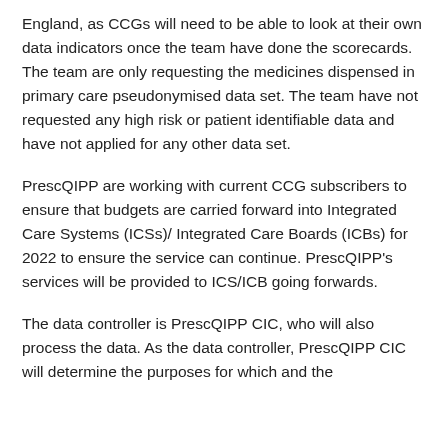England, as CCGs will need to be able to look at their own data indicators once the team have done the scorecards. The team are only requesting the medicines dispensed in primary care pseudonymised data set. The team have not requested any high risk or patient identifiable data and have not applied for any other data set.
PrescQIPP are working with current CCG subscribers to ensure that budgets are carried forward into Integrated Care Systems (ICSs)/ Integrated Care Boards (ICBs) for 2022 to ensure the service can continue. PrescQIPP's services will be provided to ICS/ICB going forwards.
The data controller is PrescQIPP CIC, who will also process the data. As the data controller, PrescQIPP CIC will determine the purposes for which and the